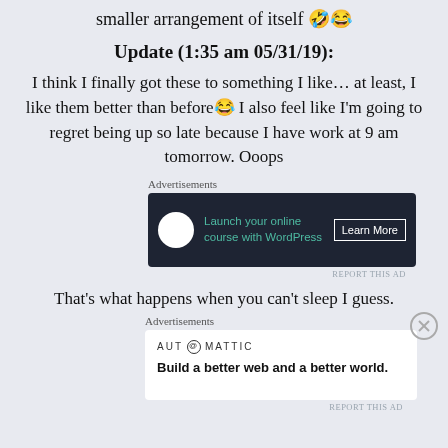smaller arrangement of itself 🤣😂
Update (1:35 am 05/31/19):
I think I finally got these to something I like… at least, I like them better than before😂 I also feel like I'm going to regret being up so late because I have work at 9 am tomorrow. Ooops
[Figure (screenshot): Advertisement banner: dark background with bonsai tree icon, green text 'Launch your online course with WordPress', and 'Learn More' button]
That's what happens when you can't sleep I guess.
[Figure (screenshot): Advertisement banner: white background with Automattic logo and tagline 'Build a better web and a better world.']